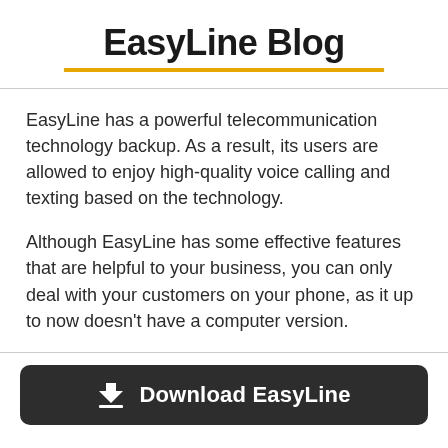EasyLine Blog
EasyLine has a powerful telecommunication technology backup. As a result, its users are allowed to enjoy high-quality voice calling and texting based on the technology.
Although EasyLine has some effective features that are helpful to your business, you can only deal with your customers on your phone, as it up to now doesn't have a computer version.
Download EasyLine